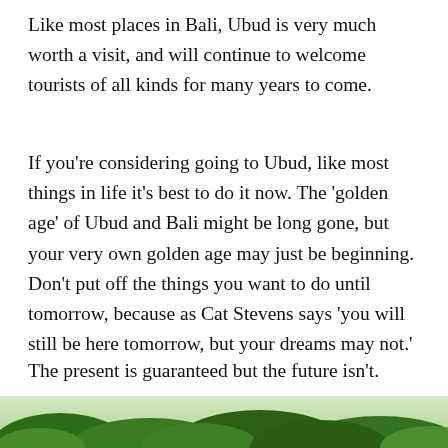Like most places in Bali, Ubud is very much worth a visit, and will continue to welcome tourists of all kinds for many years to come.
If you're considering going to Ubud, like most things in life it's best to do it now. The 'golden age' of Ubud and Bali might be long gone, but your very own golden age may just be beginning. Don't put off the things you want to do until tomorrow, because as Cat Stevens says 'you will still be here tomorrow, but your dreams may not.'
The present is guaranteed but the future isn't.
[Figure (photo): Partial view of a green tropical/jungle landscape, cropped at bottom of page]